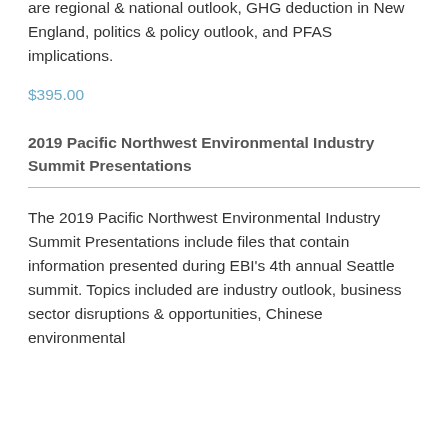during EBI's 4th annual Boston summit. Topics included are regional & national outlook, GHG deduction in New England, politics & policy outlook, and PFAS implications.
$395.00
2019 Pacific Northwest Environmental Industry Summit Presentations
The 2019 Pacific Northwest Environmental Industry Summit Presentations include files that contain information presented during EBI's 4th annual Seattle summit. Topics included are industry outlook, business sector disruptions & opportunities, Chinese environmental